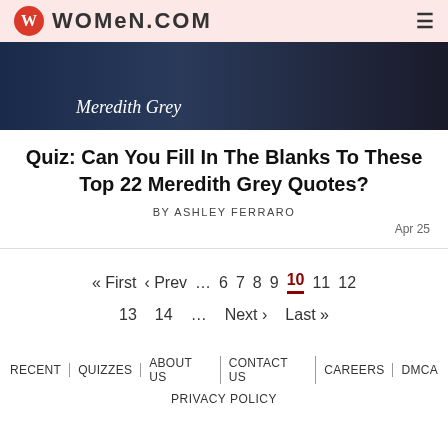women.com
[Figure (photo): Hero image showing Meredith Grey text overlay on a dark background with a person in blue scrubs]
Quiz: Can You Fill In The Blanks To These Top 22 Meredith Grey Quotes?
BY ASHLEY FERRARO
Apr 25
« First  ‹ Prev  …  6  7  8  9  10  11  12  13  14  …  Next ›  Last »
RECENT | QUIZZES | ABOUT US | CONTACT US | CAREERS | DMCA | PRIVACY POLICY